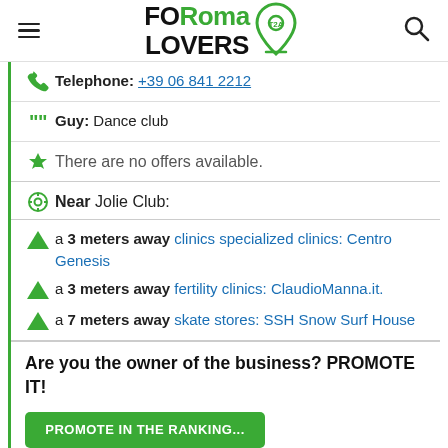FORoma LOVERS
Telephone: +39 06 841 2212
Guy: Dance club
There are no offers available.
Near Jolie Club:
a 3 meters away clinics specialized clinics: Centro Genesis
a 3 meters away fertility clinics: ClaudioManna.it.
a 7 meters away skate stores: SSH Snow Surf House
Are you the owner of the business? PROMOTE IT!